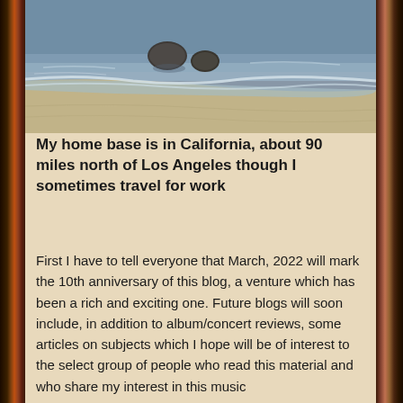[Figure (photo): Beach scene with waves washing onto sandy shore, rocks visible in background, moody coastal photography]
My home base is in California, about 90 miles north of Los Angeles though I sometimes travel for work
First I have to tell everyone that March, 2022 will mark the 10th anniversary of this blog, a venture which has been a rich and exciting one. Future blogs will soon include, in addition to album/concert reviews, some articles on subjects which I hope will be of interest to the select group of people who read this material and who share my interest in this music